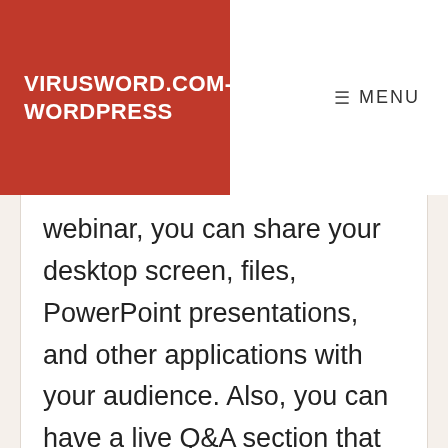VIRUSWORD.COM-WORDPRESS
MENU
webinar, you can share your desktop screen, files, PowerPoint presentations, and other applications with your audience. Also, you can have a live Q&A section that allows your audience to ask you specific questions.
The advantage of webinars compared to individual meetings